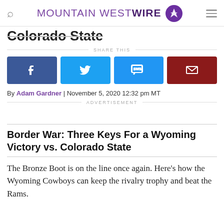MOUNTAIN WEST WIRE
Colorado State
[Figure (infographic): Share buttons row: Facebook (dark blue), Twitter (light blue), SMS (blue), Email (dark red)]
By Adam Gardner | November 5, 2020 12:32 pm MT
Border War: Three Keys For a Wyoming Victory vs. Colorado State
The Bronze Boot is on the line once again. Here's how the Wyoming Cowboys can keep the rivalry trophy and beat the Rams.